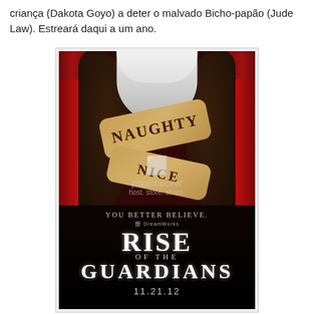criança (Dakota Goyo) a deter o malvado Bicho-papão (Jude Law). Estreará daqui a um ano.
[Figure (photo): Movie poster for 'Rise of the Guardians' (DreamWorks, 11.21.12) showing a Santa Claus-like figure in dark fur coat with crossed arms tattooed with 'NAUGHTY' and 'NICE', tagline 'YOU BETTER BELIEVE.' With photobucket watermark overlay.]